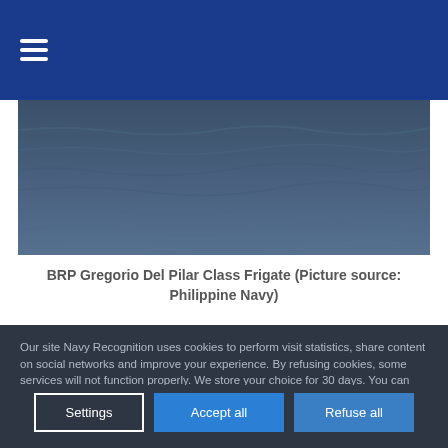≡ (hamburger menu)
[Figure (photo): Aerial or deck-level view of ocean water surface, dark blue tones, appears to be taken from a ship — partial image of BRP Gregorio Del Pilar Class Frigate context]
BRP Gregorio Del Pilar Class Frigate (Picture source: Philippine Navy)
Our site Navy Recognition uses cookies to perform visit statistics, share content on social networks and improve your experience. By refusing cookies, some services will not function properly. We store your choice for 30 days. You can change your mind by clicking on the 'Cookies' button at the bottom left of every page of our site. Learn more
Settings
Accept all
Refuse all